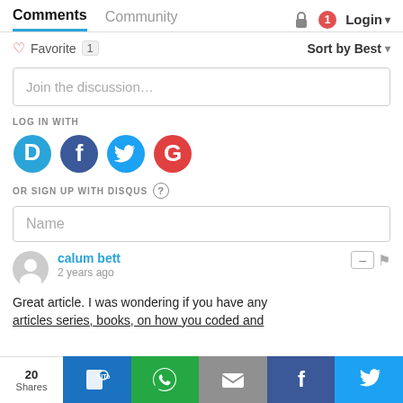Comments  Community  Login
Favorite 1   Sort by Best
Join the discussion…
LOG IN WITH
[Figure (infographic): Four social login icons: Disqus (D, light blue), Facebook (f, dark blue), Twitter (bird, light blue), Google (G, red)]
OR SIGN UP WITH DISQUS ?
Name
calum bett
2 years ago
Great article. I was wondering if you have any articles series, books, on how you coded and
20 Shares